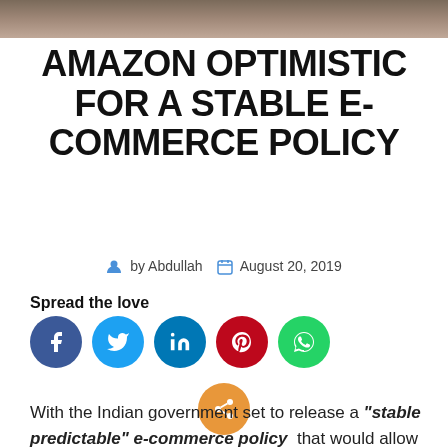[Figure (photo): Partial photo bar at top of page (dark brownish image strip)]
AMAZON OPTIMISTIC FOR A STABLE E-COMMERCE POLICY
by Abdullah   August 20, 2019
Spread the love
[Figure (infographic): Social media share icons: Facebook (dark blue), Twitter (light blue), LinkedIn (blue), Pinterest (red), WhatsApp (green), and an orange share button below]
With the Indian government set to release a "stable predictable" e-commerce policy  that would allow the retail behemoth keep investing and creating